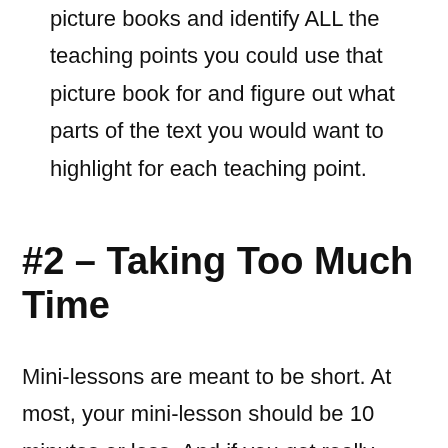picture books and identify ALL the teaching points you could use that picture book for and figure out what parts of the text you would want to highlight for each teaching point.
#2 – Taking Too Much Time
Mini-lessons are meant to be short. At most, your mini-lesson should be 10 minutes or less. And if you get really good at planning,